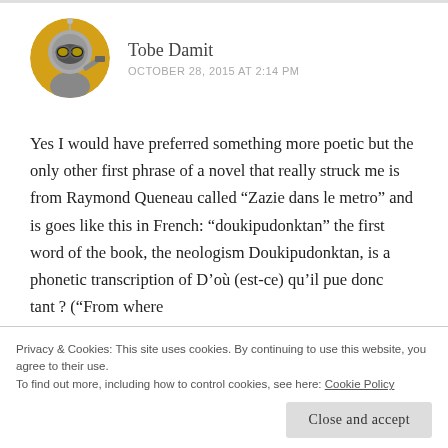[Figure (illustration): Circular avatar image of a cartoon character wearing a space helmet with goggles and holding a weapon, on a yellow background.]
Tobe Damit
OCTOBER 28, 2015 AT 2:14 PM
Yes I would have preferred something more poetic but the only other first phrase of a novel that really struck me is from Raymond Queneau called “Zazie dans le metro” and is goes like this in French: “doukipudonktan” the first word of the book, the neologism Doukipudonktan, is a phonetic transcription of D’où (est-ce) qu’il pue donc tant ? (“From where does he (or the entire place) smell?”). In the English version
Privacy & Cookies: This site uses cookies. By continuing to use this website, you agree to their use.
To find out more, including how to control cookies, see here: Cookie Policy